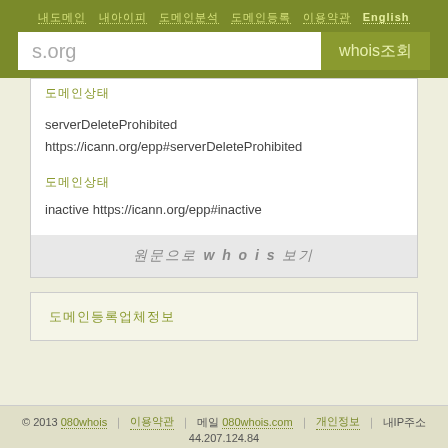내도메인 내아이피 도메인분석 도메인등록 English
s.org
whois조회
도메인상태
serverDeleteProhibited
https://icann.org/epp#serverDeleteProhibited
도메인상태
inactive https://icann.org/epp#inactive
원문으로 w h o i s 보기
도메인등록업체정보
© 2013 080whois | 이용약관 | 메일 080whois.com | 개인정보 | 내IP주소
44.207.124.84